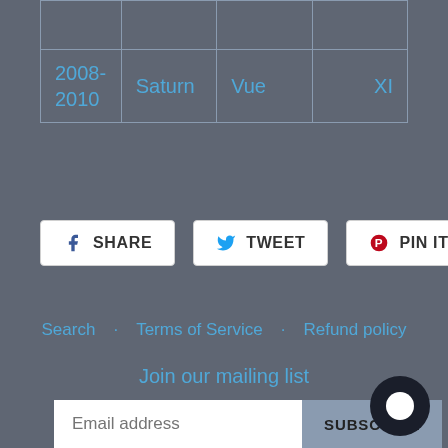|  |  |  |  |
| --- | --- | --- | --- |
| 2008-
2010 | Saturn | Vue | XI |
[Figure (other): Social share buttons: SHARE (Facebook), TWEET (Twitter), PIN IT (Pinterest)]
Search  ·  Terms of Service  ·  Refund policy
Join our mailing list
Email address  SUBSCRIBE